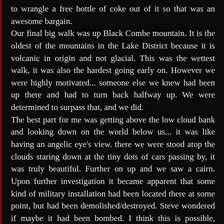to wrangle a free bottle of coke out of it so that was an awesome bargain.
Our final big walk was up Black Combe mountain. It is the oldest of the mountains in the Lake District because it is volcanic in origin and not glacial. This was the wettest walk, it was also the hardest going early on. However we were highly motivated... someone else we knew had been up there and had to turn back halfway up. We were determined to surpass that, and we did.
The best part for me was getting above the low cloud bank and looking down on the world below us... it was like having an angelic eye's view. there we were stood atop the clouds staring down at the tiny dots of cars passing by, it was truly beautiful. Further on up and we saw a cairn. Upon further investigation it became apparent that some kind of military installation had been located there at some point, but had been demolished/destroyed. Steve wondered if maybe it had been bombed. I think this is possible, because the cairn could have been laid down as a memorial to whoever was stationed there upon it's destruction.
On our way back down from the summit, we saw the Isle of Man,